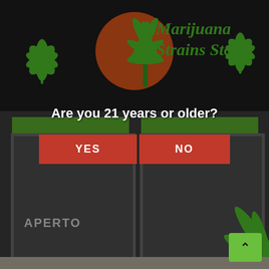[Figure (photo): Photograph of a Marijuana Strains Store storefront with a dark sign featuring the store name in green italic text, orange circle with cannabis plant graphic, green cannabis leaf decorations on either side of the sign, green accent bars above glass doors, and a large cannabis leaf on the right side. The store shows 'APERTO' (Italian for 'open') text visible through the glass door. An age verification overlay is displayed over the image asking 'Are you 21 years or older?' with red YES and NO buttons. A green scroll-to-top button is visible in the bottom right corner.]